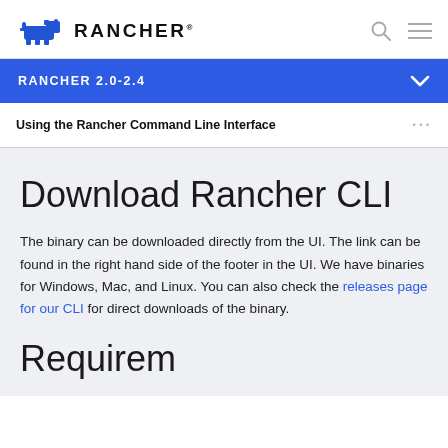RANCHER
RANCHER 2.0-2.4
Using the Rancher Command Line Interface
Download Rancher CLI
The binary can be downloaded directly from the UI. The link can be found in the right hand side of the footer in the UI. We have binaries for Windows, Mac, and Linux. You can also check the releases page for our CLI for direct downloads of the binary.
Requirements